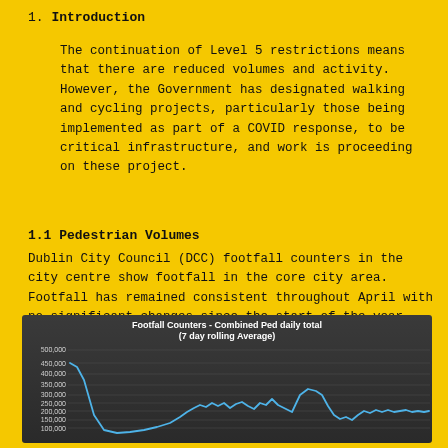1. Introduction
The continuation of Level 5 restrictions means that there are reduced volumes and activity. However, the Government has designated walking and cycling projects, particularly those being implemented as part of a COVID response, to be critical infrastructure, and work is proceeding on these project.
1.1 Pedestrian Volumes
Dublin City Council (DCC) footfall counters in the city centre show footfall in the core city area. Footfall has remained consistent throughout April with no significant changes since the start of the year.
[Figure (line-chart): Line chart on dark background showing combined pedestrian daily total 7-day rolling average. Starts near 450,000, drops sharply to around 75,000-100,000, rises back to around 200,000-250,000 with fluctuations, peaks near 300,000, then drops and levels around 175,000-190,000.]